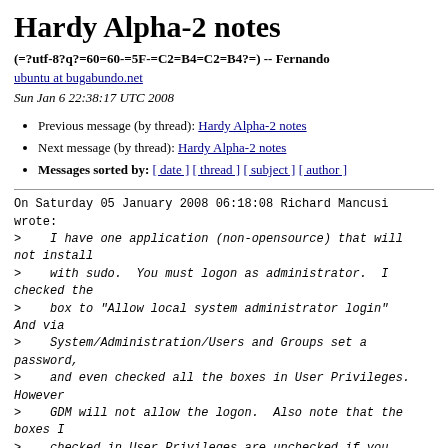Hardy Alpha-2 notes
(=?utf-8?q?=60=60-=5F-=C2=B4=C2=B4?=) -- Fernando
ubuntu at bugabundo.net
Sun Jan 6 22:38:17 UTC 2008
Previous message (by thread): Hardy Alpha-2 notes
Next message (by thread): Hardy Alpha-2 notes
Messages sorted by: [ date ] [ thread ] [ subject ] [ author ]
On Saturday 05 January 2008 06:18:08 Richard Mancusi wrote:
>    I have one application (non-opensource) that will not install
>    with sudo.  You must logon as administrator.  I checked the
>    box to "Allow local system administrator login" And via
>    System/Administration/Users and Groups set a password,
>    and even checked all the boxes in User Privileges. However
>    GDM will not allow the logon.  Also note that the boxes I
>    checked in User Privileges are unchecked if you